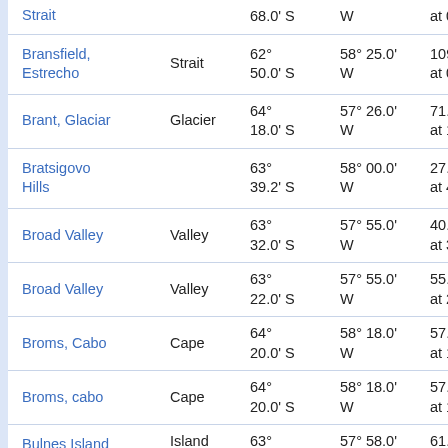| Name | Type | Latitude | Longitude | Value |
| --- | --- | --- | --- | --- |
| Strait |  | 68.0' S | W | at 0 |
| Bransfield, Estrecho | Strait | 62° 50.0' S | 58° 25.0' W | 109. at 0° |
| Brant, Glaciar | Glacier | 64° 18.0' S | 57° 26.0' W | 71.9 at 13 |
| Bratsigovo Hills |  | 63° 39.2' S | 58° 00.0' W | 27.4 at 49 |
| Broad Valley | Valley | 63° 32.0' S | 57° 55.0' W | 40.0 at 38 |
| Broad Valley | Valley | 63° 22.0' S | 57° 55.0' W | 55.8 at 27 |
| Broms, Cabo | Cape | 64° 20.0' S | 58° 18.0' W | 57.7 at 17 |
| Broms, cabo | Cape | 64° 20.0' S | 58° 18.0' W | 57.7 at 17 |
| Bulnes Island | Island | 63° | 57° 58.0' | 61.6 |